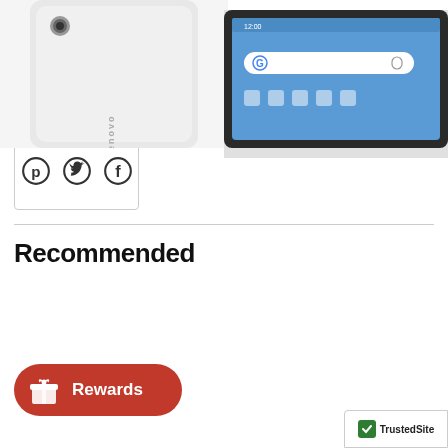[Figure (logo): Phalanx Solutions Store logo with three circular emblems and decorative script]
[Figure (infographic): Social share buttons: Pinterest, Twitter, Facebook in a bordered box]
Recommended
[Figure (photo): Back of a Lenovo white tablet device]
[Figure (photo): Front of a black Android tablet showing home screen with Google search bar]
[Figure (infographic): Red rounded Rewards button with gift box icon]
[Figure (logo): TrustedSite badge in bottom right corner]